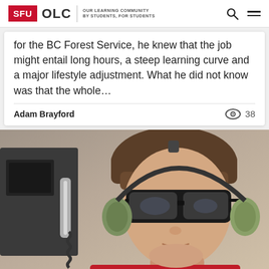SFU OLC | OUR LEARNING COMMUNITY BY STUDENTS, FOR STUDENTS
for the BC Forest Service, he knew that the job might entail long hours, a steep learning curve and a major lifestyle adjustment. What he did not know was that the whole…
Adam Brayford  38
[Figure (photo): A person wearing large black sunglasses, green aviation headset/earmuffs, and a red jacket, photographed in an aircraft cockpit environment with equipment visible in the background.]